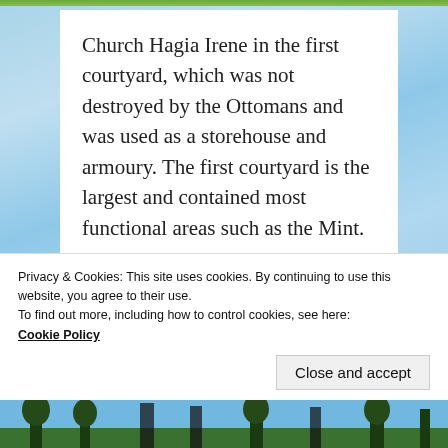[Figure (photo): Water/river background with green strip at top, blue water texture visible on sides]
Church Hagia Irene in the first courtyard, which was not destroyed by the Ottomans and was used as a storehouse and armoury. The first courtyard is the largest and contained most functional areas such as the Mint.
[Figure (photo): Partial photo showing trees and blue sky, bottom portion of a building image]
Privacy & Cookies: This site uses cookies. By continuing to use this website, you agree to their use.
To find out more, including how to control cookies, see here:
Cookie Policy
[Figure (photo): Bottom photo strip showing trees and columns against sky]